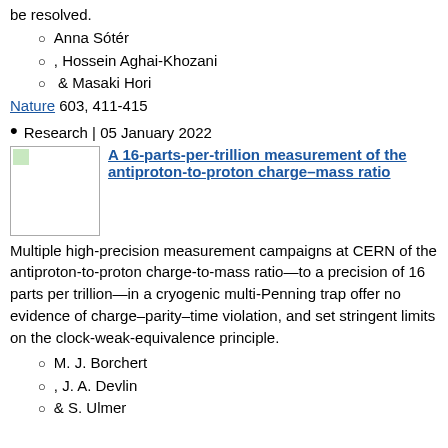be resolved.
Anna Sótér
, Hossein Aghai-Khozani
& Masaki Hori
Nature 603, 411-415
Research | 05 January 2022
[Figure (photo): Thumbnail image placeholder for article]
A 16-parts-per-trillion measurement of the antiproton-to-proton charge–mass ratio
Multiple high-precision measurement campaigns at CERN of the antiproton-to-proton charge-to-mass ratio—to a precision of 16 parts per trillion—in a cryogenic multi-Penning trap offer no evidence of charge–parity–time violation, and set stringent limits on the clock-weak-equivalence principle.
M. J. Borchert
, J. A. Devlin
& S. Ulmer